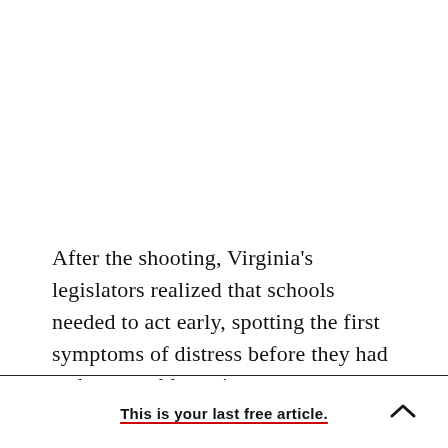After the shooting, Virginia's legislators realized that schools needed to act early, spotting the first symptoms of distress before they had a chance to bloom into rage, psychosis, and ultimately homicide. Across the country, districts set up
This is your last free article.